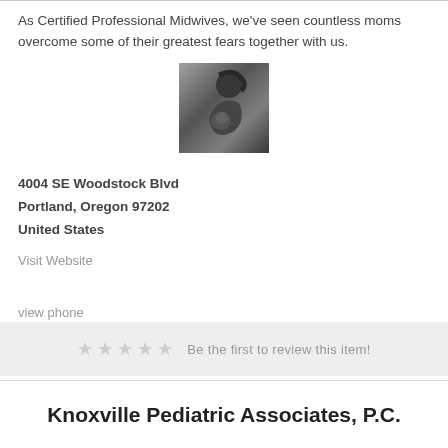As Certified Professional Midwives, we've seen countless moms overcome some of their greatest fears together with us.
[Figure (photo): Black and white photo of a woman (mother) holding a newborn baby]
4004 SE Woodstock Blvd
Portland, Oregon 97202
United States
Visit Website
view phone
★★★★★ Be the first to review this item!
Knoxville Pediatric Associates, P.C.